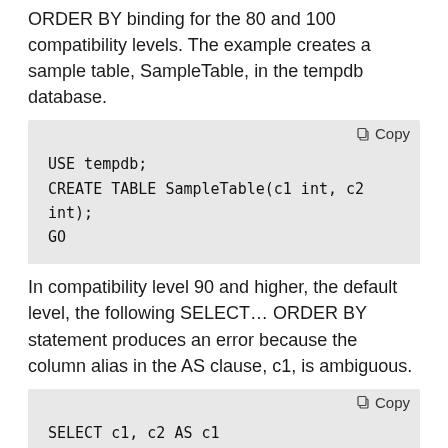ORDER BY binding for the 80 and 100 compatibility levels. The example creates a sample table, SampleTable, in the tempdb database.
USE tempdb;
CREATE TABLE SampleTable(c1 int, c2 int);
GO
In compatibility level 90 and higher, the default level, the following SELECT… ORDER BY statement produces an error because the column alias in the AS clause, c1, is ambiguous.
SELECT c1, c2 AS c1
FROM SampleTable
ORDER BY c1;
GO